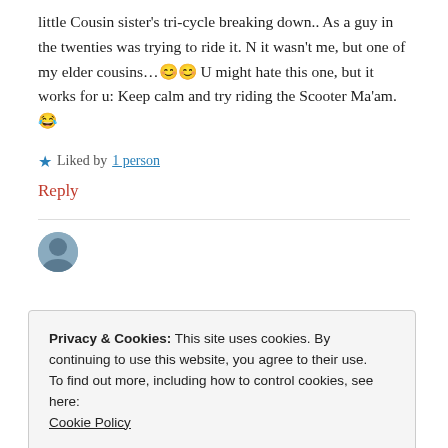little Cousin sister's tri-cycle breaking down.. As a guy in the twenties was trying to ride it. N it wasn't me, but one of my elder cousins…😊😊 U might hate this one, but it works for u: Keep calm and try riding the Scooter Ma'am.😂
★ Liked by 1 person
Reply
Privacy & Cookies: This site uses cookies. By continuing to use this website, you agree to their use.
To find out more, including how to control cookies, see here:
Cookie Policy
Close and accept
★ Liked by 1 person